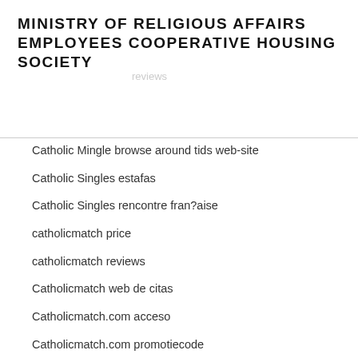MINISTRY OF RELIGIOUS AFFAIRS EMPLOYEES COOPERATIVE HOUSING SOCIETY
Catholic Mingle browse around tids web-site
Catholic Singles estafas
Catholic Singles rencontre fran?aise
catholicmatch price
catholicmatch reviews
Catholicmatch web de citas
Catholicmatch.com acceso
Catholicmatch.com promotiecode
catholicsingles com vs catholicmatch com dating
catholicsingles com vs catholicmatch com reviews